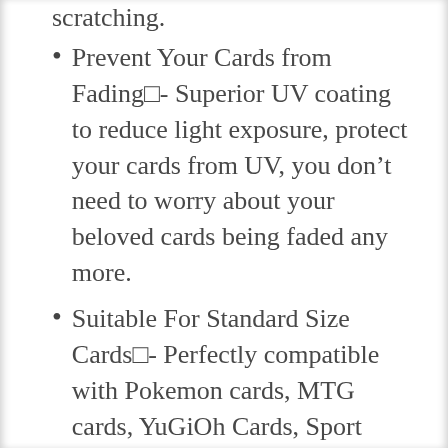scratching.
Prevent Your Cards from Fading□- Superior UV coating to reduce light exposure, protect your cards from UV, you don’t need to worry about your beloved cards being faded any more.
Suitable For Standard Size Cards□- Perfectly compatible with Pokemon cards, MTG cards, YuGiOh Cards, Sport cards, Cardfight Vanguard, Force Of